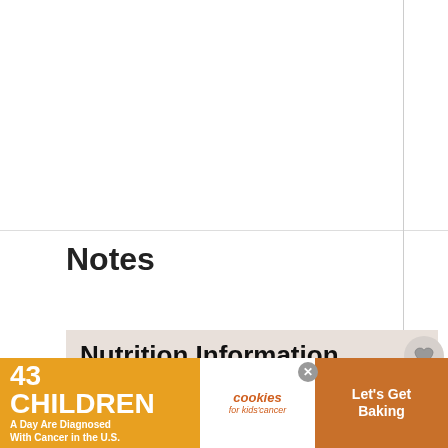Notes
Nutrition Information
Serving: 2tablespoons | Calories: 54kcal | Carbohydrates: 8g | Protein: 2g | Fat: 2g | Saturated Fat: 1g | Trans Fat: 1g | Cholesterol: ... | Sodium: 100...
[Figure (infographic): Advertisement banner: 43 Children A Day Are Diagnosed With Cancer in the U.S. | cookies for kids' cancer | Let's Get Baking]
[Figure (infographic): WHAT'S NEXT arrow with thumbnail image: Chicken Tortilla Onio...]